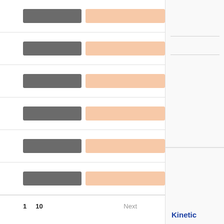[Figure (other): List of rows each containing a dark gray bar and a light peach/salmon colored bar, representing a search results or data list UI with pagination showing 1, 10, Next]
1   10   Next